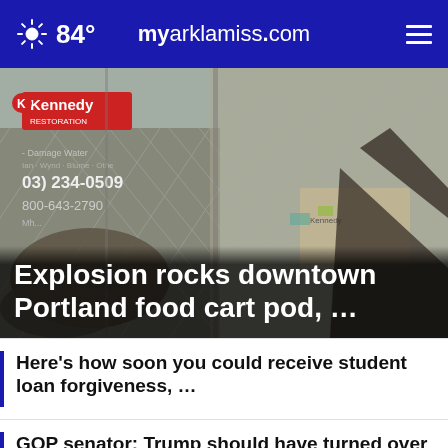84° myarklamiss.com
[Figure (photo): Debris and destruction behind a chain-link fence at a food cart pod, with a Kennedy Restoration sign visible and phone numbers (03) 234-0509 and 800-643-2790 partially shown.]
Explosion rocks downtown Portland food cart pod, …
Here's how soon you could receive student loan forgiveness, …
GOP senator: Trump should have turned over 'all' …
Beto O'Rourke pauses campaign after